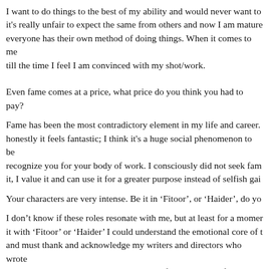I want to do things to the best of my ability and would never want to it's really unfair to expect the same from others and now I am mature everyone has their own method of doing things. When it comes to me till the time I feel I am convinced with my shot/work.
Even fame comes at a price, what price do you think you had to pay?
Fame has been the most contradictory element in my life and career. honestly it feels fantastic; I think it's a huge social phenomenon to be recognize you for your body of work. I consciously did not seek fam it, I value it and can use it for a greater purpose instead of selfish gai
Your characters are very intense. Be it in 'Fitoor', or 'Haider', do yo
I don't know if these roles resonate with me, but at least for a mome it with 'Fitoor' or 'Haider' I could understand the emotional core of t and must thank and acknowledge my writers and directors who wrote huge compliment to transmute a character from paper to life and it's connect with. It gives you free range to paint them in your colours ar
[Figure (photo): Small thumbnail image placeholder next to caption text 'Haider(c) UTV Motions']
Haider(c) UTV Motions
You look exquisite and refreshing all the time? What's your secret be